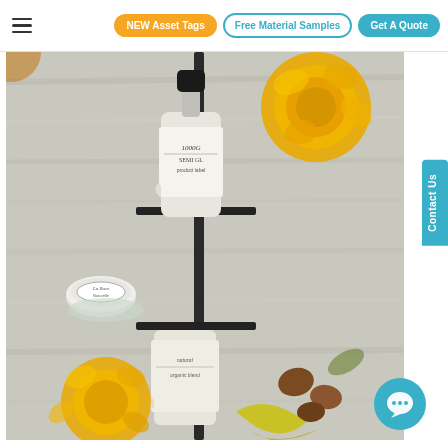NEW Asset Tags | Free Material Samples | Get A Quote
[Figure (photo): A styled product photo showing cosmetic/skincare bottles with printed labels on a metal rack stand, surrounded by yellow ranunculus flowers, small round tin containers, yellow ribbon, and brown seeds/nuts on a light grey wooden background.]